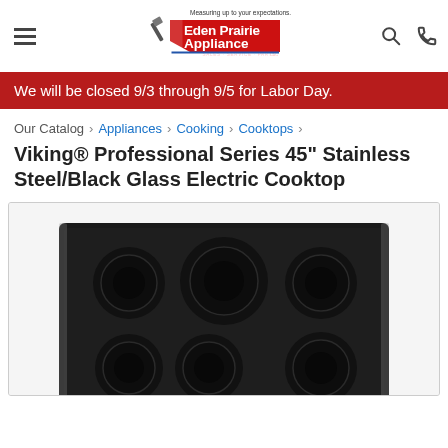[Figure (logo): Eden Prairie Appliance logo with tagline 'Measuring up to your expectations. Sales · Service · Parts LLC']
We will be closed 9/3 through 9/5 for Labor Day.
Our Catalog › Appliances › Cooking › Cooktops ›
Viking® Professional Series 45" Stainless Steel/Black Glass Electric Cooktop
[Figure (photo): Viking Professional Series 45 inch Black Glass Electric Cooktop with 6 burner elements arranged in two rows on a black glass surface with stainless steel trim]